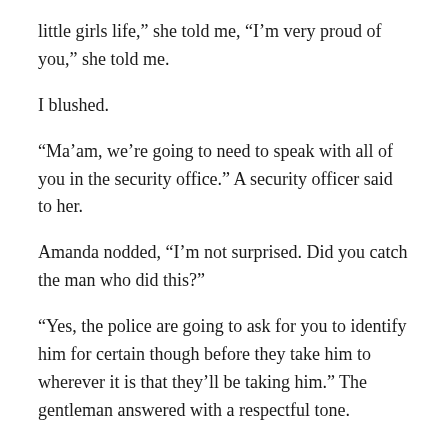little girls life,” she told me, “I’m very proud of you,” she told me.
I blushed.
“Ma’am, we’re going to need to speak with all of you in the security office.” A security officer said to her.
Amanda nodded, “I’m not surprised. Did you catch the man who did this?”
“Yes, the police are going to ask for you to identify him for certain though before they take him to wherever it is that they’ll be taking him.” The gentleman answered with a respectful tone.
Just then the lady stood up from her little girl who was being taken on a stretcher to check out and came over to us. She looked at me and Amanda and gave us both a hug, “Thank you for saving my daughter,” she said to me. “I